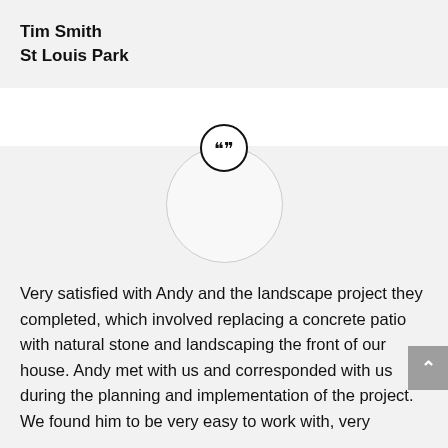Tim Smith
St Louis Park
[Figure (illustration): Circular quotation mark icon with double closing quotation marks, followed by an empty circular avatar placeholder]
Very satisfied with Andy and the landscape project they completed, which involved replacing a concrete patio with natural stone and landscaping the front of our house. Andy met with us and corresponded with us during the planning and implementation of the project. We found him to be very easy to work with, very